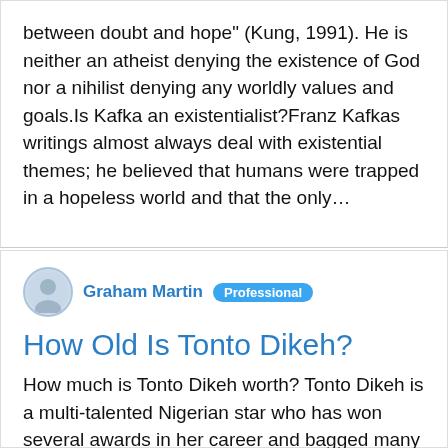between doubt and hope" (Kung, 1991). He is neither an atheist denying the existence of God nor a nihilist denying any worldly values and goals.Is Kafka an existentialist?Franz Kafkas writings almost always deal with existential themes; he believed that humans were trapped in a hopeless world and that the only…
Graham Martin  Professional
How Old Is Tonto Dikeh?
How much is Tonto Dikeh worth? Tonto Dikeh is a multi-talented Nigerian star who has won several awards in her career and bagged many endorsement, besides acting, she is also a musician.Her estimated net worth is at $1.5million.. Who is the richest woman in Nollywood? Genevieve NnajiTop